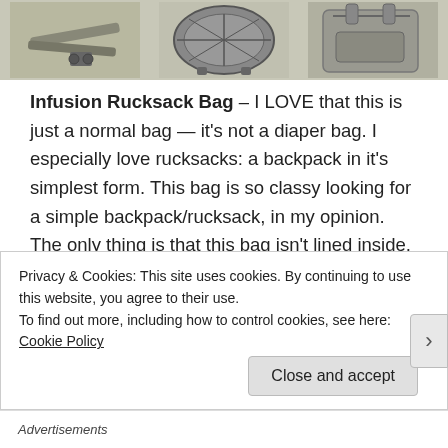[Figure (photo): Three product photos of bag accessories and the Infusion Rucksack bag shown from different angles, displayed in a horizontal strip at the top of the page.]
Infusion Rucksack Bag – I LOVE that this is just a normal bag — it's not a diaper bag. I especially love rucksacks: a backpack in it's simplest form. This bag is so classy looking for a simple backpack/rucksack, in my opinion. The only thing is that this bag isn't lined inside, so accidental spills could ruin it. I also contacted Infusion's Abby Meadow, the designer of this rucksack, and she mentioned that there are moms who use this bag as a diaper bag and love it. Overall, love it's
Privacy & Cookies: This site uses cookies. By continuing to use this website, you agree to their use.
To find out more, including how to control cookies, see here: Cookie Policy
Close and accept
Advertisements